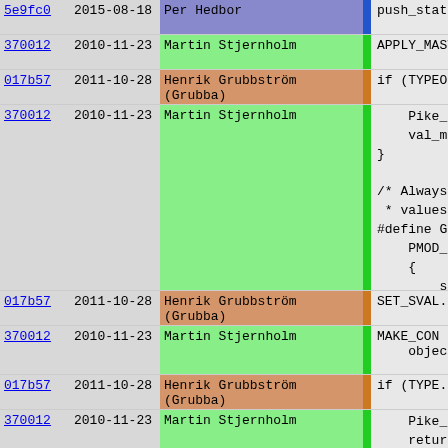| hash | date | author | bar | code |
| --- | --- | --- | --- | --- |
| 5e9fc0 | 2015-08-18 | Per Hedbor |  | push_stat... |
| 370012 | 2010-11-23 | Martin Stjernholm |  | APPLY_MAST... |
| 017b57 | 2011-10-28 | Henrik Grubbström (Grubba) |  | if (TYPEOF... |
| 370012 | 2010-11-23 | Martin Stjernholm |  | Pike_err
    val_module
}

/* Always d
 * values t
#define GET_
    PMOD_EXPOR
    {
        struct s
        if (!va... |
| 017b57 | 2011-10-28 | Henrik Grubbström (Grubba) |  | SET_SVAL... |
| 370012 | 2010-11-23 | Martin Stjernholm |  | MAKE_COM
    object_... |
| 017b57 | 2011-10-28 | Henrik Grubbström (Grubba) |  | if (TYPE... |
| 370012 | 2010-11-23 | Martin Stjernholm |  | Pike_e
    return n
    }

    GET_VAL (tru
    GET_VAL (fa
    GET_VAL (nu... |